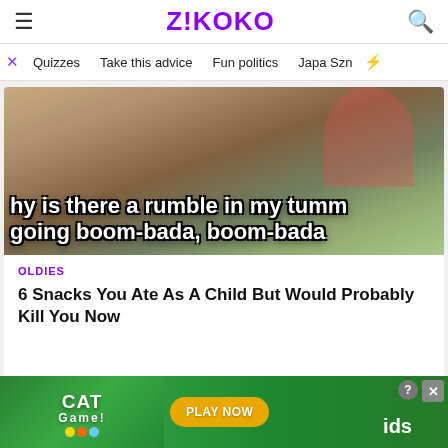Z!KOKO
Quizzes   Take this advice   Fun politics   Japa Szn
[Figure (photo): A meme-style image with text overlay reading 'hy is there a rumble in my tumm going boom-bada, boom-bada' over a photo background]
OLDIES
6 Snacks You Ate As A Child But Would Probably Kill You Now
[Figure (photo): Thumbnail image of an outdoor scene with trees and a structure]
OLDIES
[Figure (screenshot): Cat Game advertisement banner with cartoon cats, CAT GAME logo, PLAY NOW button, and partial text 'ids']